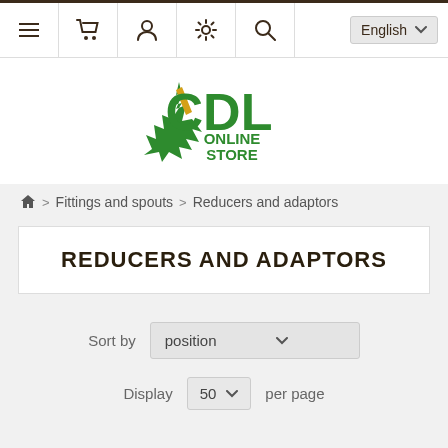Navigation bar with menu, basket, account, settings, search icons and English language selector
[Figure (logo): CDL Online Store logo with green maple leaf and gold accent]
Home > Fittings and spouts > Reducers and adaptors
REDUCERS AND ADAPTORS
Sort by position
Display 50 per page